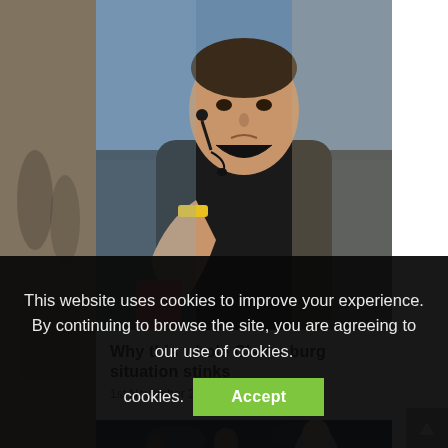[Figure (photo): A football referee in a black shirt holding up a red card, with a microphone headset, looking serious. Blurred stadium background.]
Why this whole Clattenburg situation stinks
1st November 2012
[Figure (photo): A second article preview image showing a football player in a light blue kit, stadium background at night.]
This website uses cookies to improve your experience. By continuing to browse the site, you are agreeing to our use of cookies.
Accept